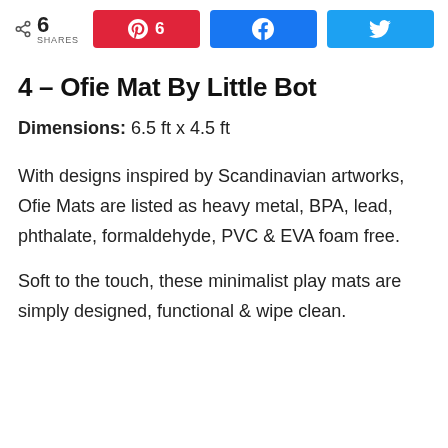6 SHARES | Pinterest 6 | Facebook | Twitter
4 – Ofie Mat By Little Bot
Dimensions: 6.5 ft x 4.5 ft
With designs inspired by Scandinavian artworks, Ofie Mats are listed as heavy metal, BPA, lead, phthalate, formaldehyde, PVC & EVA foam free.
Soft to the touch, these minimalist play mats are simply designed, functional & wipe clean.